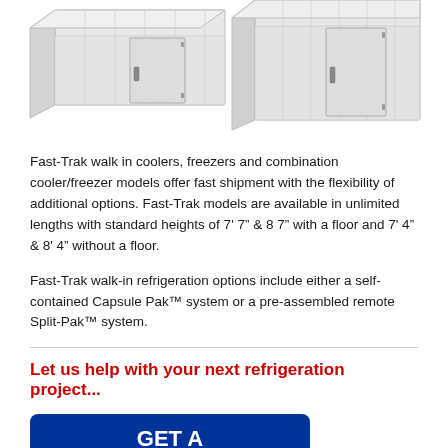[Figure (photo): Two walk-in cooler/freezer units shown side by side from an angled perspective, with white paneled exteriors and doors with handles. The units appear to be modular refrigeration units.]
Fast-Trak walk in coolers, freezers and combination cooler/freezer models offer fast shipment with the flexibility of additional options. Fast-Trak models are available in unlimited lengths with standard heights of 7' 7" & 8 7" with a floor and 7' 4" & 8' 4" without a floor.
Fast-Trak walk-in refrigeration options include either a self-contained Capsule Pak™ system or a pre-assembled remote Split-Pak™ system.
Let us help with your next refrigeration project...
[Figure (other): Blue button/banner with white bold text reading 'GET A QUOTE']